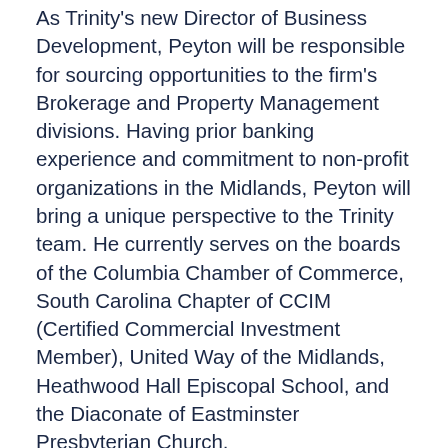As Trinity's new Director of Business Development, Peyton will be responsible for sourcing opportunities to the firm's Brokerage and Property Management divisions. Having prior banking experience and commitment to non-profit organizations in the Midlands, Peyton will bring a unique perspective to the Trinity team. He currently serves on the boards of the Columbia Chamber of Commerce, South Carolina Chapter of CCIM (Certified Commercial Investment Member), United Way of the Midlands, Heathwood Hall Episcopal School, and the Diaconate of Eastminster Presbyterian Church.
For additional information, please contact Bruce Harper at bharper@trinity-partners.com or Peyton Bryant at pbryant@trinity-partners.com. To learn more about Trinity Partners, visit trinity-partners.com and follow us on Instagram: @trinitypartnerscola.